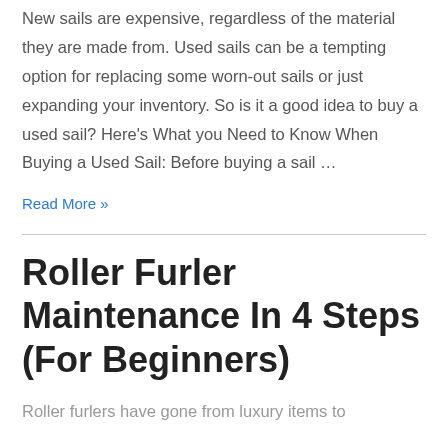New sails are expensive, regardless of the material they are made from. Used sails can be a tempting option for replacing some worn-out sails or just expanding your inventory. So is it a good idea to buy a used sail? Here's What you Need to Know When Buying a Used Sail: Before buying a sail …
Read More »
Roller Furler Maintenance In 4 Steps (For Beginners)
Roller furlers have gone from luxury items to